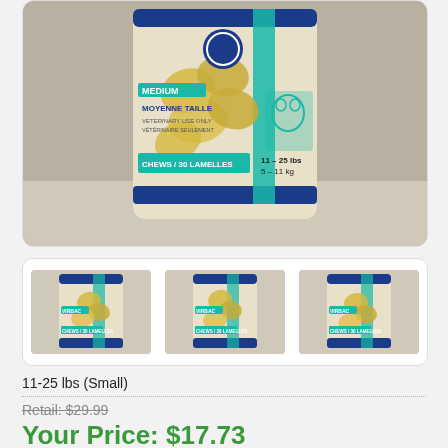[Figure (photo): Large product photo of a bag of dog chews (30 lamelles/chews), medium size, 11-25 lbs / 5-11 kg, with blue and teal packaging showing a dog illustration]
[Figure (photo): Three thumbnail images of the same dog chew product bags shown side by side]
11-25 lbs (Small)
Retail: $29.99
Your Price: $17.73
30 Chews Per Bag
You Save: $12.26